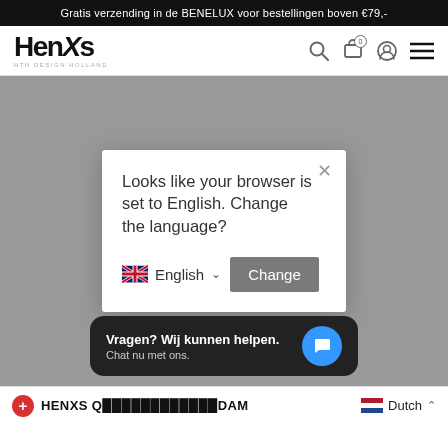Gratis verzending in de BENELUX voor bestellingen boven €79,-
[Figure (logo): Henxs logo with tagline HTN DESIGN HOLLAND]
Looks like your browser is set to English. Change the language?
English  Change
Vragen? Wij kunnen helpen. Chat nu met ons.
HENXS Q... AMSTERDAM
Dutch